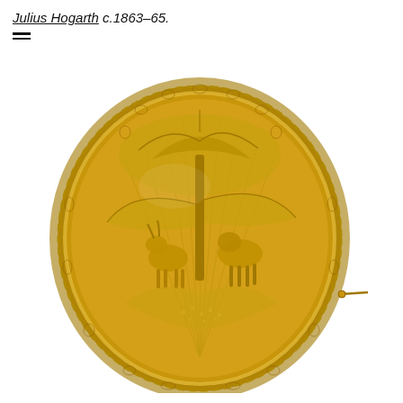Julius Hogarth c.1863-65.
[Figure (photo): A gold oval brooch with intricate repoussé decoration featuring a deer or stag and foliage motifs beneath a large leaf canopy, with an ornate scrollwork border. The brooch has a pin clasp visible on the right side. Photographed against a white background. Attributed to Julius Hogarth, circa 1863-65.]